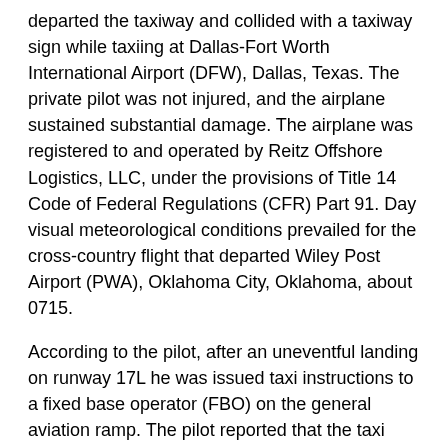departed the taxiway and collided with a taxiway sign while taxiing at Dallas-Fort Worth International Airport (DFW), Dallas, Texas. The private pilot was not injured, and the airplane sustained substantial damage. The airplane was registered to and operated by Reitz Offshore Logistics, LLC, under the provisions of Title 14 Code of Federal Regulations (CFR) Part 91. Day visual meteorological conditions prevailed for the cross-country flight that departed Wiley Post Airport (PWA), Oklahoma City, Oklahoma, about 0715.
According to the pilot, after an uneventful landing on runway 17L he was issued taxi instructions to a fixed base operator (FBO) on the general aviation ramp. The pilot reported that the taxi was uneventful until the right turn from taxiway K to taxiway Z. He stated that the airplane did not respond to a full application of right rudder and brake pedal. Additionally, an application of the left brake pedal did not slow the airplane. The airplane departed the taxiway and went into a grass median where the right wing impacted a lighted taxiway sign.
A postaccident examination of the airplane was completed